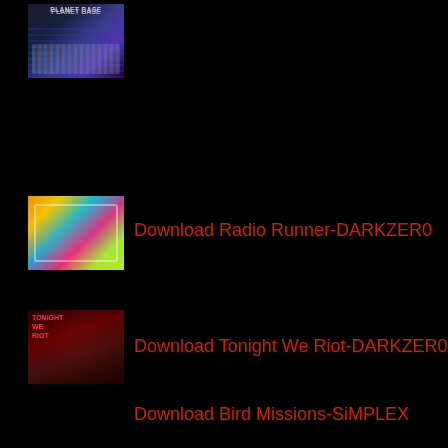[Figure (illustration): Planet Base game cover art thumbnail showing colorful sci-fi city scene]
[Figure (illustration): Radio Runner game cover art thumbnail with colorful retro arcade style graphics]
Download Radio Runner-DARKZER0
[Figure (illustration): Tonight We Riot game cover art thumbnail with dark red tones and characters]
Download Tonight We Riot-DARKZER0
Download Bird Missions-SiMPLEX